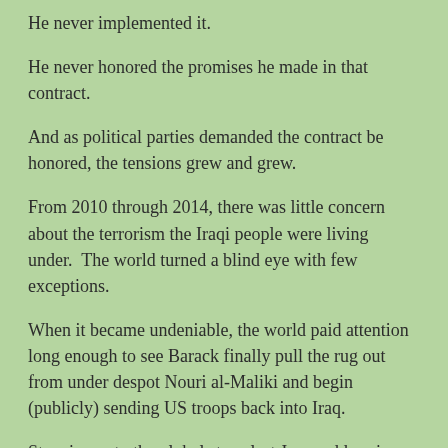He never implemented it.
He never honored the promises he made in that contract.
And as political parties demanded the contract be honored, the tensions grew and grew.
From 2010 through 2014, there was little concern about the terrorism the Iraqi people were living under.  The world turned a blind eye with few exceptions.
When it became undeniable, the world paid attention long enough to see Barack finally pull the rug out from under despot Nouri al-Maliki and begin (publicly) sending US troops back into Iraq.
Stepping onto the global stage last June, addressing the world, Barack declared that the only answer to Iraq's various crises was a political solution.